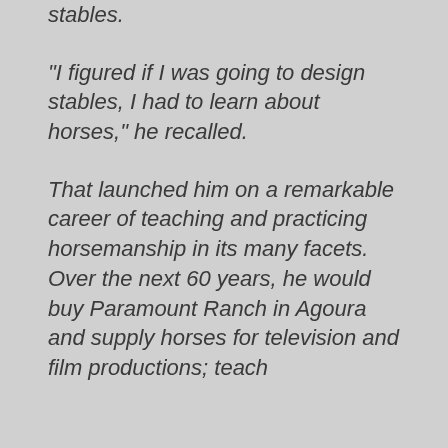stables.
"I figured if I was going to design stables, I had to learn about horses," he recalled.
That launched him on a remarkable career of teaching and practicing horsemanship in its many facets. Over the next 60 years, he would buy Paramount Ranch in Agoura and supply horses for television and film productions; teach